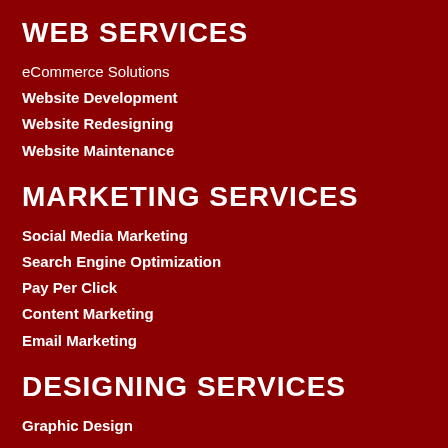WEB SERVICES
eCommerce Solutions
Website Development
Website Redesigning
Website Maintenance
MARKETING SERVICES
Social Media Marketing
Search Engine Optimization
Pay Per Click
Content Marketing
Email Marketing
DESIGNING SERVICES
Graphic Design